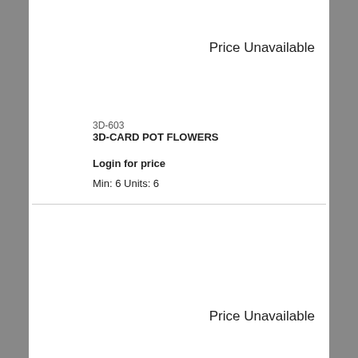Price Unavailable
3D-603
3D-CARD POT FLOWERS
Login for price
Min:  6 Units:  6
Price Unavailable
3D-502
3D-CARD WINE